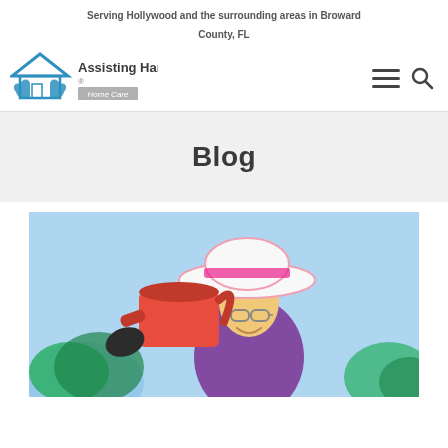Serving Hollywood and the surrounding areas in Broward County, FL
[Figure (logo): Assisting Hands Home Care logo with house icon and text]
Blog
[Figure (photo): Elderly woman wearing a pink hat and purple shirt, holding a red watering can outdoors, gardening]